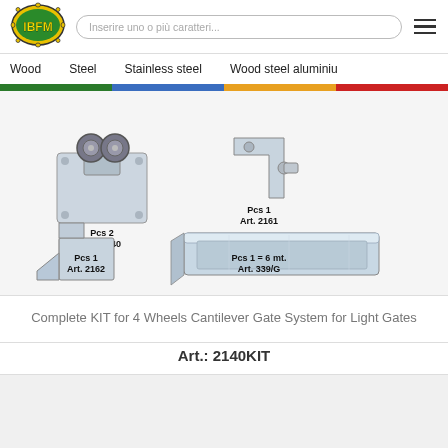IBFM — Inserire uno o più caratteri...
Wood   Steel   Stainless steel   Wood steel aluminium
[Figure (photo): Four hardware product components: Pcs 2 Art. 2140 (4-wheel gate roller), Pcs 1 Art. 2161 (corner bracket), Pcs 1 Art. 2162 (end stop bracket), Pcs 1 = 6 mt. Art. 339/G (square section track)]
Complete KIT for 4 Wheels Cantilever Gate System for Light Gates
Art.: 2140KIT